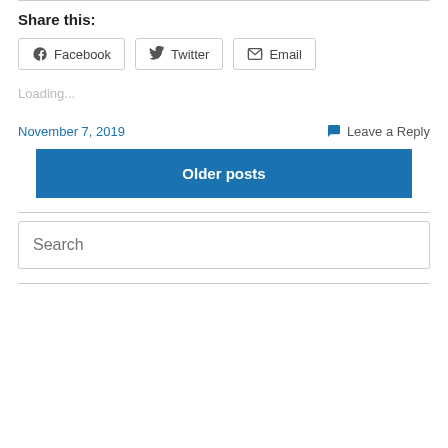Share this:
Facebook  Twitter  Email
Loading...
November 7, 2019
Leave a Reply
Older posts
Search